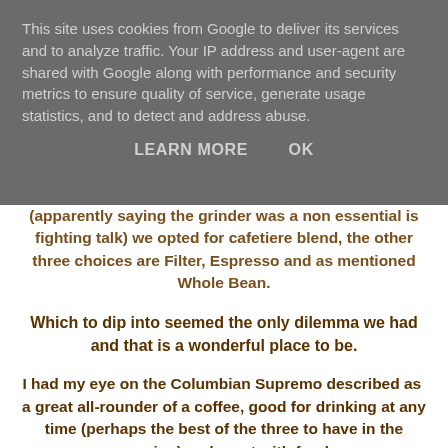This site uses cookies from Google to deliver its services and to analyze traffic. Your IP address and user-agent are shared with Google along with performance and security metrics to ensure quality of service, generate usage statistics, and to detect and address abuse.
LEARN MORE    OK
(apparently saying the grinder was a non essential is fighting talk) we opted for cafetiere blend, the other three choices are Filter, Espresso and as mentioned Whole Bean.
Which to dip into seemed the only dilemma we had and that is a wonderful place to be.
I had my eye on the Columbian Supremo described as  a great all-rounder of a coffee, good for drinking at any time (perhaps the best of the three to have in the morning) and great with food.
This was to be saved for Sunday morning, see further down for our thoughts!